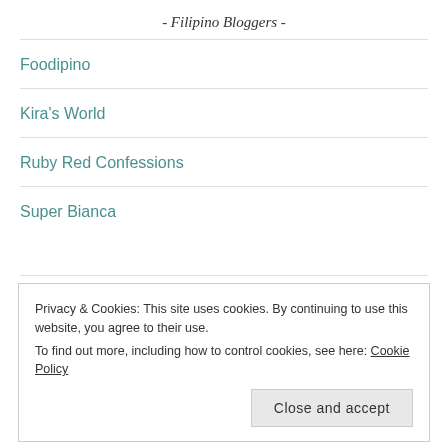- Filipino Bloggers -
Foodipino
Kira's World
Ruby Red Confessions
Super Bianca
- Great British Bake Off Favourites -
Privacy & Cookies: This site uses cookies. By continuing to use this website, you agree to their use.
To find out more, including how to control cookies, see here: Cookie Policy